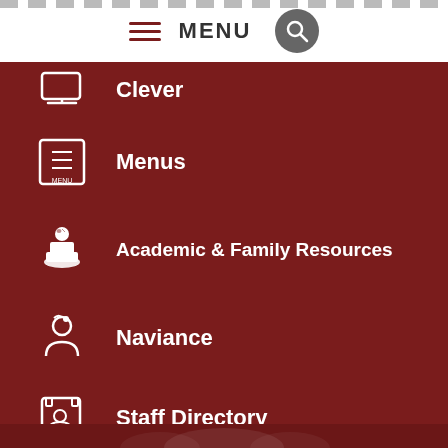MENU
Clever
Menus
Academic & Family Resources
Naviance
Staff Directory
[Figure (illustration): Faded decorative illustration at the bottom of the dark red page section]